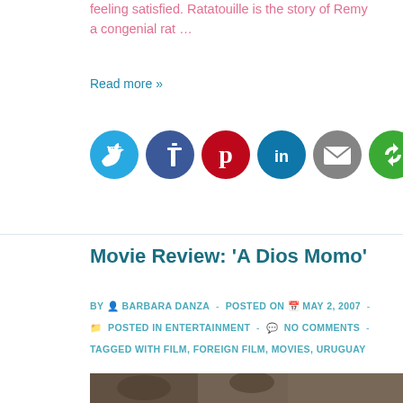feeling satisfied. Ratatouille is the story of Remy a congenial rat …
Read more »
[Figure (infographic): Row of six circular social media share buttons: Twitter (blue bird), Facebook (dark blue f), Pinterest (red p), LinkedIn (teal in), Email (grey envelope), and a green circular arrow/share icon]
Movie Review: 'A Dios Momo'
BY  BARBARA DANZA  -  POSTED ON  MAY 2, 2007  -  POSTED IN ENTERTAINMENT  -  NO COMMENTS  -  TAGGED WITH FILM, FOREIGN FILM, MOVIES, URUGUAY
[Figure (photo): Partial photograph of people, appears to be a movie still or promotional photo]